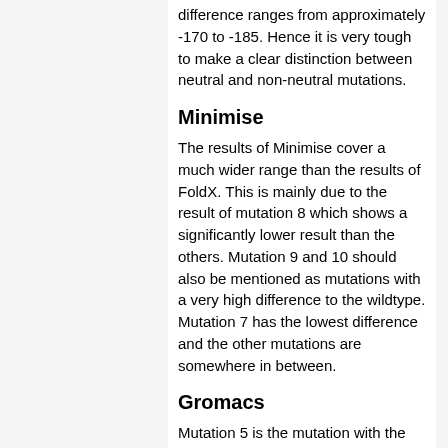difference ranges from approximately -170 to -185. Hence it is very tough to make a clear distinction between neutral and non-neutral mutations.
Minimise
The results of Minimise cover a much wider range than the results of FoldX. This is mainly due to the result of mutation 8 which shows a significantly lower result than the others. Mutation 9 and 10 should also be mentioned as mutations with a very high difference to the wildtype. Mutation 7 has the lowest difference and the other mutations are somewhere in between.
Gromacs
Mutation 5 is the mutation with the lowest difference to the wildtype. Once again, mutation 8 has the highest difference. The next least stable structures are the ones of mutation 10, 9 and 7. Mutation 5 has the lowest difference